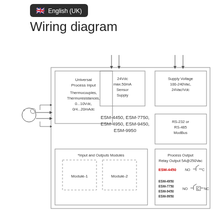[Figure (schematic): Language selector badge showing UK flag and English (UK) text]
Wiring diagram
[Figure (engineering-diagram): Wiring diagram for ESM-4450, ESM-7750, ESM-4950, ESM-9450, ESM-9950 controllers showing Universal Process Input with sensor connection on left, 24Vdc max 50mA Sensor Supply at top, Supply Voltage 100-240Vac 24Vac/Vdc, RS-232 or RS-485 ModBus communication block, Input and Outputs Modules section with Module-1 and Module-2, and Process Output Relay Output 5A@250Vac with ESM-4450 NO/C contacts and ESM-4950/7750/9450/9950 NO/C/NC contacts]